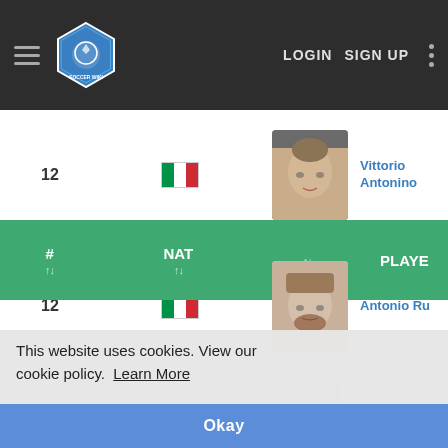[Figure (screenshot): Soccer Wiki website header with hamburger menu, hexagonal soccer wiki logo, LOGIN and SIGN UP navigation links, and vertical dots menu on dark background]
| # | NAT |  | PLAYER |
| --- | --- | --- | --- |
| 12 | IT | photo: Vittorio Antonino | Vittorio Antonino |
| 12 | IT | photo: Antonio Ru... | Antonio Ru... |
| 1 | IT | placeholder | Andrea Lol... |
| 3 | IT | placeholder | Antonio Fe... |
| 97 | IT | placeholder | Vincent de Maria |
This website uses cookies. View our cookie policy.  Learn More
Okay